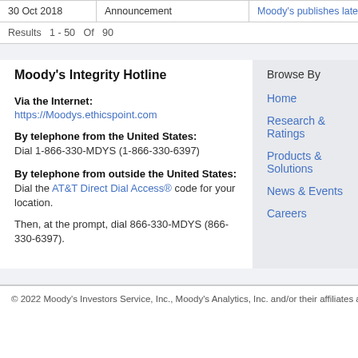| Date | Type | Title |
| --- | --- | --- |
| 30 Oct 2018 | Announcement | Moody's publishes latest edition o |
Results  1 - 50  Of  90
Moody's Integrity Hotline
Via the Internet:
https://Moodys.ethicspoint.com
By telephone from the United States:
Dial 1-866-330-MDYS (1-866-330-6397)
By telephone from outside the United States:
Dial the AT&T Direct Dial Access® code for your location.

Then, at the prompt, dial 866-330-MDYS (866-330-6397).
Browse By
Home
Research & Ratings
Products & Solutions
News & Events
Careers
© 2022 Moody's Investors Service, Inc., Moody's Analytics, Inc. and/or their affiliates a